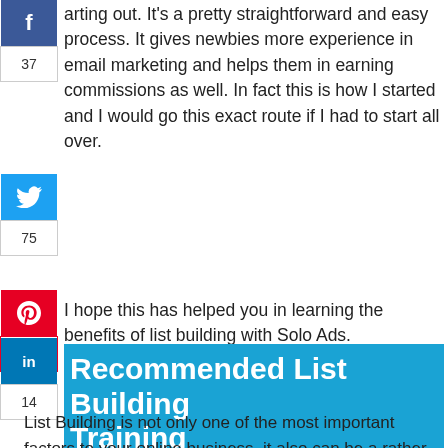arting out. It's a pretty straightforward and easy process. It gives newbies more experience in email marketing and helps them in earning commissions as well. In fact this is how I started and I would go this exact route if I had to start all over.
I hope this has helped you in learning the benefits of list building with Solo Ads.
Recommended List Building Training
List Building is not only one of the most important factors to your online business, it also can be a rather strenuous task. Getting your email list to a point where it is a profitable asset